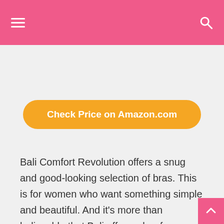☰  🔍
[Figure (other): Orange rounded button with text 'Check Price on Amazon.com']
Bali Comfort Revolution offers a snug and good-looking selection of bras. This is for women who want something simple and beautiful. And it's more than believable that Bali offers a bra for women with small and sagging breasts.